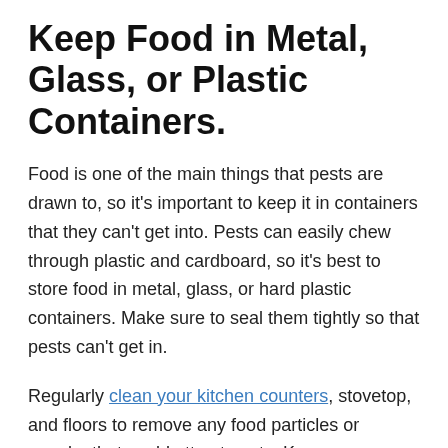Keep Food in Metal, Glass, or Plastic Containers.
Food is one of the main things that pests are drawn to, so it’s important to keep it in containers that they can’t get into. Pests can easily chew through plastic and cardboard, so it’s best to store food in metal, glass, or hard plastic containers. Make sure to seal them tightly so that pests can’t get in.
Regularly clean your kitchen counters, stovetop, and floors to remove any food particles or crumbs that could attract pests. Keep your garbage cans clean and sealed, and take the garbage out regularly. If you have a compost bin, make sure to